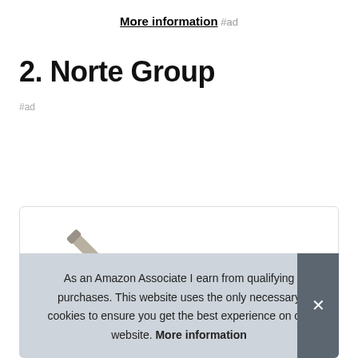More information #ad
2. Norte Group
#ad
[Figure (photo): Product photo of a pen/stylus at an angle against white background inside a card with rounded border]
As an Amazon Associate I earn from qualifying purchases. This website uses the only necessary cookies to ensure you get the best experience on our website. More information